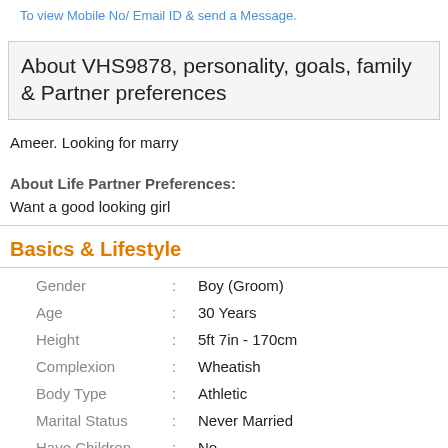To view Mobile No/ Email ID & send a Message.
About VHS9878, personality, goals, family & Partner preferences
Ameer. Looking for marry
About Life Partner Preferences:
Want a good looking girl
Basics & Lifestyle
| Field |  | Value |
| --- | --- | --- |
| Gender | : | Boy (Groom) |
| Age | : | 30 Years |
| Height | : | 5ft 7in - 170cm |
| Complexion | : | Wheatish |
| Body Type | : | Athletic |
| Marital Status | : | Never Married |
| Have Children | : | No |
| ... | : | No Vegetarian |